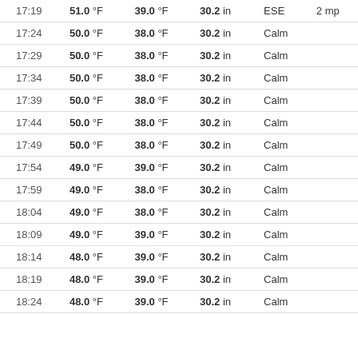| Time | Temp | Dew Point | Pressure | Wind Dir | Wind Speed |
| --- | --- | --- | --- | --- | --- |
| 17:19 | 51.0 °F | 39.0 °F | 30.2 in | ESE | 2 mp |
| 17:24 | 50.0 °F | 38.0 °F | 30.2 in | Calm |  |
| 17:29 | 50.0 °F | 38.0 °F | 30.2 in | Calm |  |
| 17:34 | 50.0 °F | 38.0 °F | 30.2 in | Calm |  |
| 17:39 | 50.0 °F | 38.0 °F | 30.2 in | Calm |  |
| 17:44 | 50.0 °F | 38.0 °F | 30.2 in | Calm |  |
| 17:49 | 50.0 °F | 38.0 °F | 30.2 in | Calm |  |
| 17:54 | 49.0 °F | 39.0 °F | 30.2 in | Calm |  |
| 17:59 | 49.0 °F | 38.0 °F | 30.2 in | Calm |  |
| 18:04 | 49.0 °F | 38.0 °F | 30.2 in | Calm |  |
| 18:09 | 49.0 °F | 39.0 °F | 30.2 in | Calm |  |
| 18:14 | 48.0 °F | 39.0 °F | 30.2 in | Calm |  |
| 18:19 | 48.0 °F | 39.0 °F | 30.2 in | Calm |  |
| 18:24 | 48.0 °F | 39.0 °F | 30.2 in | Calm |  |